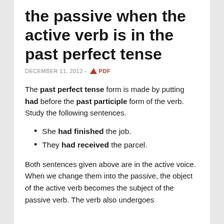the passive when the active verb is in the past perfect tense
DECEMBER 11, 2012 - PDF
The past perfect tense form is made by putting had before the past participle form of the verb. Study the following sentences.
She had finished the job.
They had received the parcel.
Both sentences given above are in the active voice. When we change them into the passive, the object of the active verb becomes the subject of the passive verb. The verb also undergoes